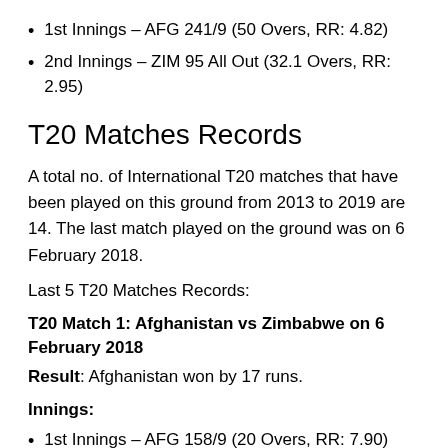1st Innings – AFG 241/9 (50 Overs, RR: 4.82)
2nd Innings – ZIM 95 All Out (32.1 Overs, RR: 2.95)
T20 Matches Records
A total no. of International T20 matches that have been played on this ground from 2013 to 2019 are 14. The last match played on the ground was on 6 February 2018.
Last 5 T20 Matches Records:
T20 Match 1: Afghanistan vs Zimbabwe on 6 February 2018
Result: Afghanistan won by 17 runs.
Innings:
1st Innings – AFG 158/9 (20 Overs, RR: 7.90)